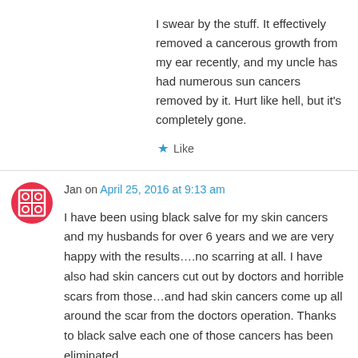I swear by the stuff. It effectively removed a cancerous growth from my ear recently, and my uncle has had numerous sun cancers removed by it. Hurt like hell, but it's completely gone.
★ Like
Jan on April 25, 2016 at 9:13 am
I have been using black salve for my skin cancers and my husbands for over 6 years and we are very happy with the results….no scarring at all. I have also had skin cancers cut out by doctors and horrible scars from those…and had skin cancers come up all around the scar from the doctors operation. Thanks to black salve each one of those cancers has been eliminated